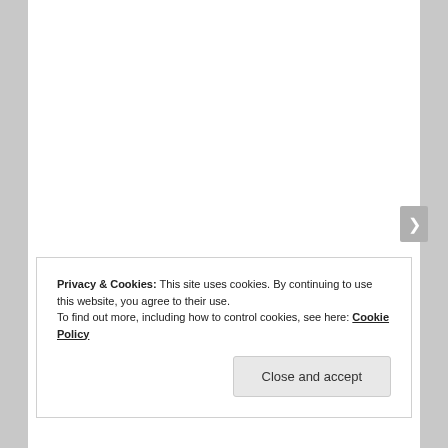Naren Krishnan... NK to most, even to her, but Naren when it was just the two of them. He was first and foremost her best friend.
Privacy & Cookies: This site uses cookies. By continuing to use this website, you agree to their use.
To find out more, including how to control cookies, see here: Cookie Policy

Close and accept